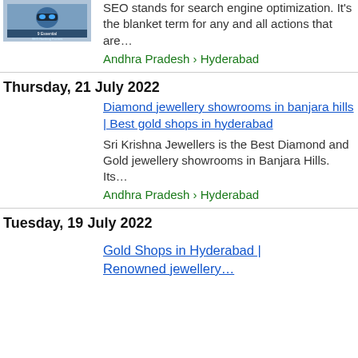[Figure (photo): Thumbnail image for SEO article showing a person with VR headset and text '9 Essential SEO Ranking Factors']
SEO stands for search engine optimization. It's the blanket term for any and all actions that are…
Andhra Pradesh › Hyderabad
Thursday, 21 July 2022
Diamond jewellery showrooms in banjara hills | Best gold shops in hyderabad
Sri Krishna Jewellers is the Best Diamond and Gold jewellery showrooms in Banjara Hills. Its…
Andhra Pradesh › Hyderabad
Tuesday, 19 July 2022
Gold Shops in Hyderabad | Renowned jewellery…